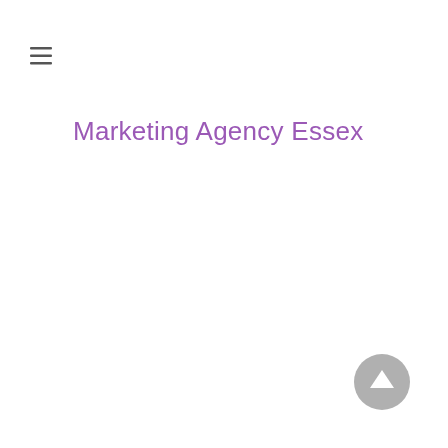[Figure (other): Hamburger menu icon (three horizontal lines)]
Marketing Agency Essex
[Figure (other): Scroll-to-top button: grey circle with white upward arrow]